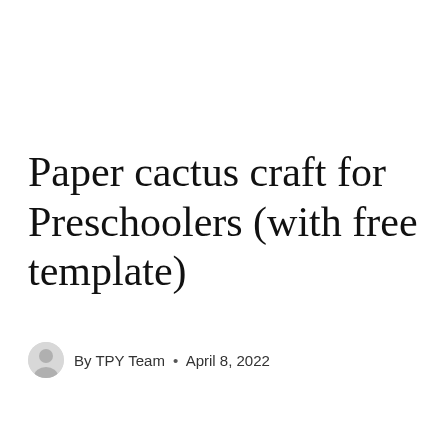Paper cactus craft for Preschoolers (with free template)
By TPY Team • April 8, 2022